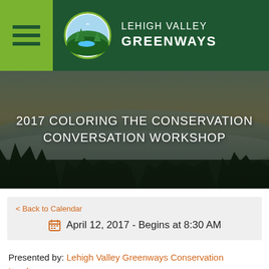[Figure (logo): Lehigh Valley Greenways logo with oval containing landscape illustration, green header bar with hamburger menu icon]
[Figure (photo): Landscape scenic photo of misty valley with trees and mountains at dusk/dawn]
2017 COLORING THE CONSERVATION CONVERSATION WORKSHOP
< Back to Calendar
April 12, 2017 - Begins at 8:30 AM
Presented by: Lehigh Valley Greenways Conservation Landscape
The Coloring the Conservation Conversation Workshop